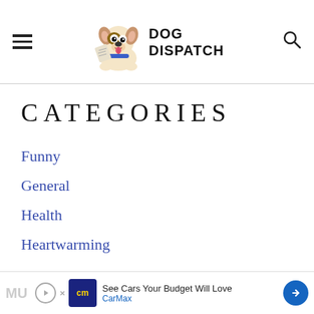Dog Dispatch
CATEGORIES
Funny
General
Health
Heartwarming
Names
Uncategorized
[Figure (infographic): Advertisement bar at bottom: CarMax ad with play button, CarMax logo, text 'See Cars Your Budget Will Love / CarMax' and directional arrow icon]